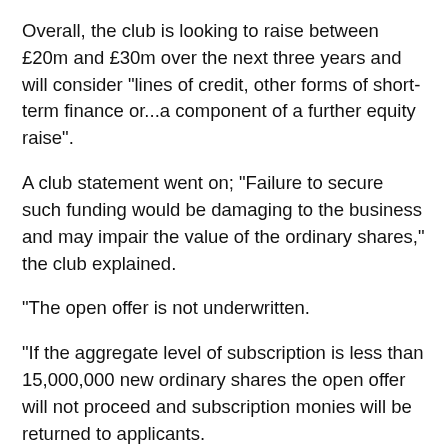Overall, the club is looking to raise between £20m and £30m over the next three years and will consider "lines of credit, other forms of short-term finance or...a component of a further equity raise".
A club statement went on; "Failure to secure such funding would be damaging to the business and may impair the value of the ordinary shares," the club explained.
"The open offer is not underwritten.
"If the aggregate level of subscription is less than 15,000,000 new ordinary shares the open offer will not proceed and subscription monies will be returned to applicants.
"Should this occur, the company will be unable to pay its creditors as they fall due and the future of the company will be uncertain; the directors will immediately have to seek emergency financing which may or may not be